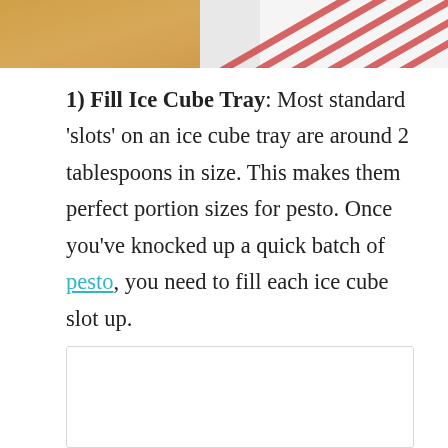[Figure (photo): Top portion of a photo showing a wooden cutting board (yellow/orange) on the left and a red-and-white striped cloth/towel on the right, cropped at the top of the page.]
1) Fill Ice Cube Tray: Most standard 'slots' on an ice cube tray are around 2 tablespoons in size. This makes them perfect portion sizes for pesto. Once you've knocked up a quick batch of pesto, you need to fill each ice cube slot up.
[Figure (photo): Bottom image placeholder with a light border, content not visible (cropped/partial image at bottom of page).]